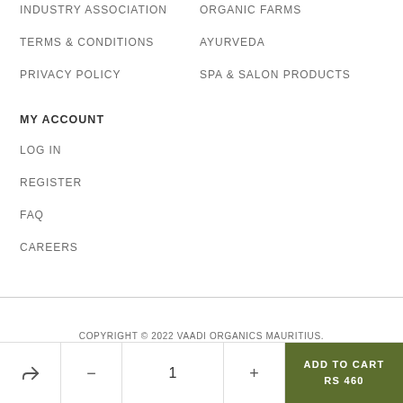INDUSTRY ASSOCIATION
ORGANIC FARMS
TERMS & CONDITIONS
AYURVEDA
PRIVACY POLICY
SPA & SALON PRODUCTS
MY ACCOUNT
LOG IN
REGISTER
FAQ
CAREERS
COPYRIGHT © 2022 VAADI ORGANICS MAURITIUS.
ADD TO CART RS 460